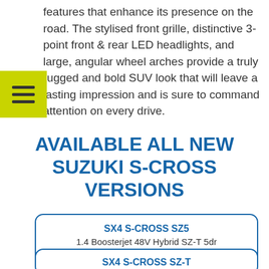features that enhance its presence on the road. The stylised front grille, distinctive 3-point front & rear LED headlights, and large, angular wheel arches provide a truly rugged and bold SUV look that will leave a lasting impression and is sure to command attention on every drive.
AVAILABLE ALL NEW SUZUKI S-CROSS VERSIONS
SX4 S-CROSS SZ5
1.4 Boosterjet 48V Hybrid SZ-T 5dr
Available To Order
SX4 S-CROSS SZ-T